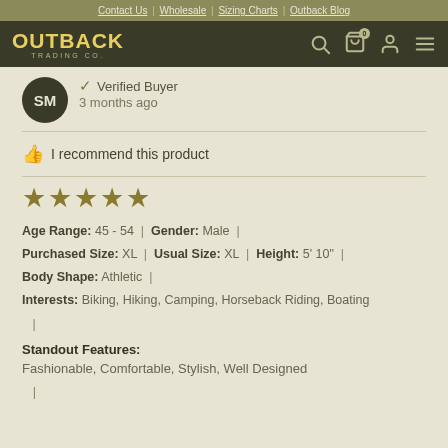Contact Us | Wholesale | Sizing Charts | Outback Blog
[Figure (logo): Outback Trading Co. logo with navigation icons (search, cart, account, menu)]
SM - Verified Buyer - 3 months ago
I recommend this product
[Figure (other): 5-star rating]
Age Range: 45 - 54 | Gender: Male | Purchased Size: XL | Usual Size: XL | Height: 5' 10" | Body Shape: Athletic | Interests: Biking, Hiking, Camping, Horseback Riding, Boating |
Standout Features:
Fashionable, Comfortable, Stylish, Well Designed |